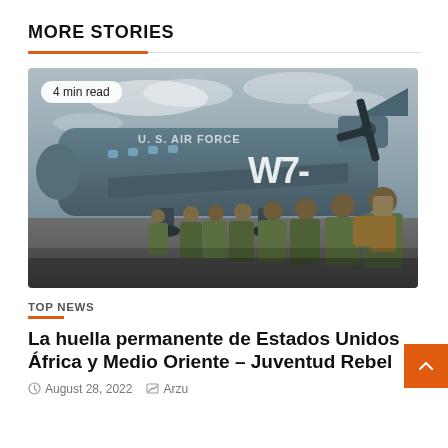MORE STORIES
[Figure (photo): Military personnel in camouflage uniforms and gear boarding or lining up to board a U.S. Air Force cargo aircraft on a tarmac. The plane has 'U.S. AIR FORCE' and 'W7-' markings visible.]
4 min read
TOP NEWS
La huella permanente de Estados Unidos África y Medio Oriente – Juventud Rebel
August 28, 2022   Arzu